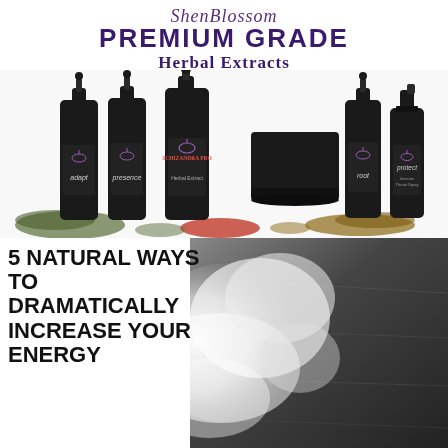ShenBlossom
PREMIUM GRADE Herbal Extracts & Formulas
[Figure (photo): Five black glass dropper bottles and a spray bottle of ShenBlossom herbal extracts (adapt, presence, schizandra pro, root, protect) arranged with herbs, red powder, and seeds on a white background]
5 NATURAL WAYS TO DRAMATICALLY INCREASE YOUR ENERGY
[Figure (photo): Smoke or mist effect against a dark stone/concrete background]